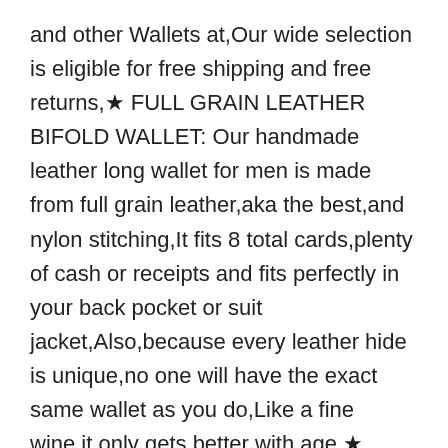and other Wallets at,Our wide selection is eligible for free shipping and free returns,★ FULL GRAIN LEATHER BIFOLD WALLET: Our handmade leather long wallet for men is made from full grain leather,aka the best,and nylon stitching,It fits 8 total cards,plenty of cash or receipts and fits perfectly in your back pocket or suit jacket,Also,because every leather hide is unique,no one will have the exact same wallet as you do,Like a fine wine,it only gets better with age,★ SLIM & STYLISH,Designed in USA,: Our long checkbook wallet measures just 6,75" tall,3,5" wide,1/2" thick,It has room for 8 credit cards + 1 ID slot as well,Plus there are 2 long side pockets on each side that allow you to have room to carry all your daily essentials,while still being slim and functional,Don't buy this tall wallet if you plan to an average Joe ★ PERFECT GIFT FOR MEN: Our long